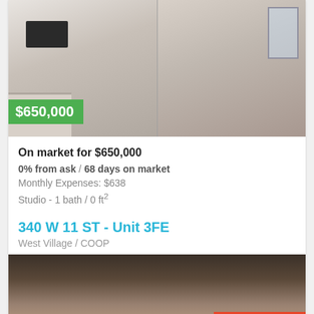[Figure (photo): Interior photo of a living room with white walls, fireplace, sofas, and windows. Price badge showing $650,000 in green.]
On market for $650,000
0% from ask / 68 days on market
Monthly Expenses: $638
Studio - 1 bath / 0 ft²
340 W 11 ST - Unit 3FE
West Village / COOP
[Figure (photo): Interior photo of a hallway/foyer with brick walls and wooden doors, partially visible.]